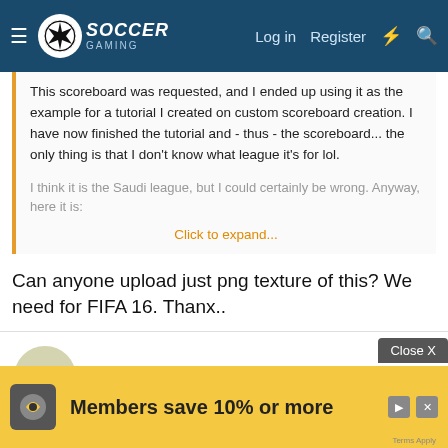Soccer Gaming — Log in | Register
This scoreboard was requested, and I ended up using it as the example for a tutorial I created on custom scoreboard creation. I have now finished the tutorial and - thus - the scoreboard... the only thing is that I don't know what league it's for lol.
I think it is the Saudi league, but I could certainly be wrong. Anyway, here it is:
Click to expand...
Can anyone upload just png texture of this? We need for FIFA 16. Thanx..
Sheepgamer3344
Club Supporter
Apr 30, 2022
#160
@riessc…itor tool for the fa…
Members save 10% or more
Close X